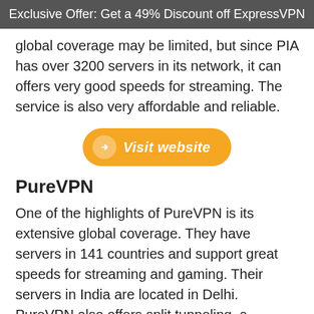Exclusive Offer: Get a 49% Discount off ExpressVPN
global coverage may be limited, but since PIA has over 3200 servers in its network, it can offers very good speeds for streaming. The service is also very affordable and reliable.
[Figure (other): Orange rounded button with arrow icon and text 'Visit website']
PureVPN
One of the highlights of PureVPN is its extensive global coverage. They have servers in 141 countries and support great speeds for streaming and gaming. Their servers in India are located in Delhi. PureVPN also offers split tunneling, a convenient feature that will allow you to route specific applications through the VPN, while the rest of your traffic uses your